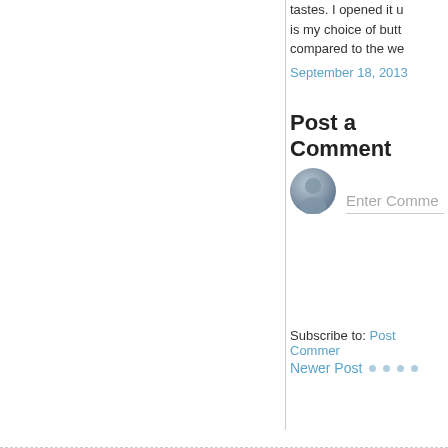tastes. I opened it ... is my choice of butt... compared to the we...
September 18, 2013
Post a Comment
[Figure (illustration): User avatar circle with placeholder person silhouette, gray-blue gradient]
Enter Comme...
Newer Post • • • •
Subscribe to: Post Commer...